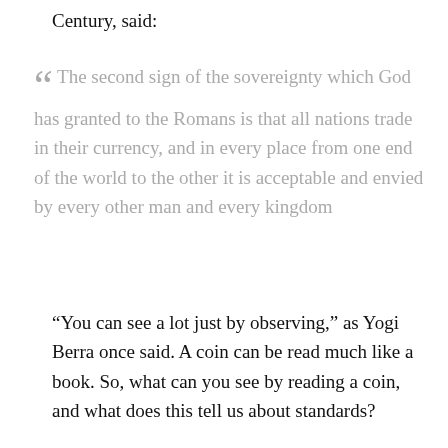Century, said:
“ The second sign of the sovereignty which God has granted to the Romans is that all nations trade in their currency, and in every place from one end of the world to the other it is acceptable and envied by every other man and every kingdom
“You can see a lot just by observing,” as Yogi Berra once said. A coin can be read much like a book. So, what can you see by reading a coin, and what does this tell us about standards?